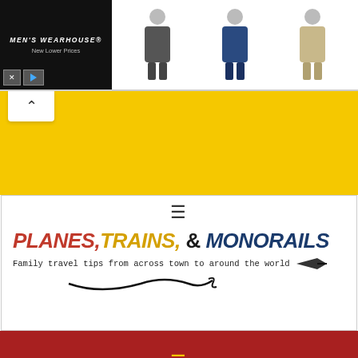[Figure (screenshot): Men's Wearhouse advertisement banner with black background, logo text, 'New Lower Prices' subtitle, close/play buttons, and three male figures in suits]
[Figure (screenshot): Yellow navigation bar with white chevron/up-arrow button on the left]
[Figure (logo): Planes, Trains, & Monorails website logo with hamburger menu icon, colorful title text in red, gold, and dark blue, subtitle 'Family travel tips from across town to around the world' with airplane graphic and decorative swirl]
[Figure (screenshot): Dark red navigation bar with gold/yellow hamburger menu icon]